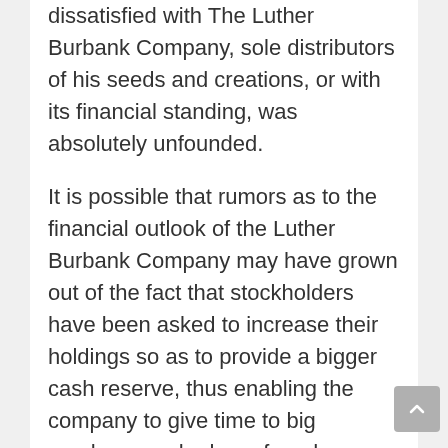dissatisfied with The Luther Burbank Company, sole distributors of his seeds and creations, or with its financial standing, was absolutely unfounded.
It is possible that rumors as to the financial outlook of the Luther Burbank Company may have grown out of the fact that stockholders have been asked to increase their holdings so as to provide a bigger cash reserve, thus enabling the company to give time to big purchasers who have found money collections somewhat slow, and to provide an addition to